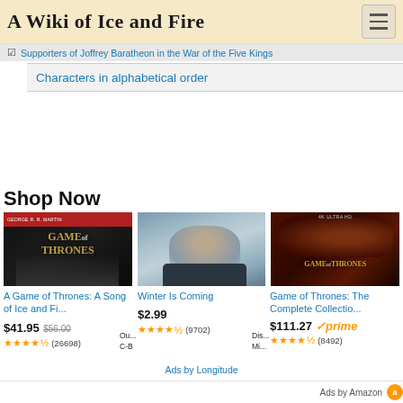A Wiki of Ice and Fire
Characters from the Westerlands | Deaths by dragging
Supporters of Joffrey Baratheon in the War of the Five Kings
Characters in alphabetical order
Shop Now
[Figure (photo): Book cover of A Game of Thrones with iron throne imagery, red top banner with George R.R. Martin text]
A Game of Thrones: A Song of Ice and Fi...
$41.95  $56.00
★★★★☆ (26698)
[Figure (photo): Winter Is Coming - dark atmospheric figure in snow gear, blue-grey tones]
Winter Is Coming
$2.99
★★★★☆ (9702)
[Figure (photo): Game of Thrones: The Complete Collection 4K UHD blu-ray with dragon imagery]
Game of Thrones: The Complete Collectio...
$111.27 ✓prime
★★★★☆ (8492)
Ads by Longitude
Ads by Amazon